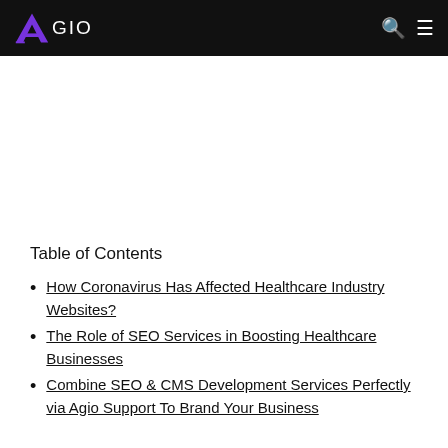AGIO
Table of Contents
How Coronavirus Has Affected Healthcare Industry Websites?
The Role of SEO Services in Boosting Healthcare Businesses
Combine SEO & CMS Development Services Perfectly via Agio Support To Brand Your Business